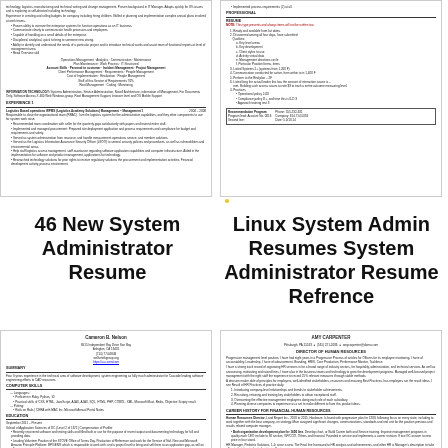[Figure (screenshot): Thumbnail of a system administrator resume page (top-left), showing resume text with sections for experience, skills, and education]
[Figure (screenshot): Thumbnail of a system administrator resume page (top-right), showing resume with professional sections, bullet points, and a table]
46 New System Administrator Resume
Linux System Admin Resumes System Administrator Resume Refrence
[Figure (screenshot): Thumbnail of a resume for Cameron B. Nelson, software development, summary and experience sections (bottom-left)]
[Figure (screenshot): Thumbnail of a resume for Amy Carpenter, Director of Human Resources, with experience and career history sections (bottom-right)]